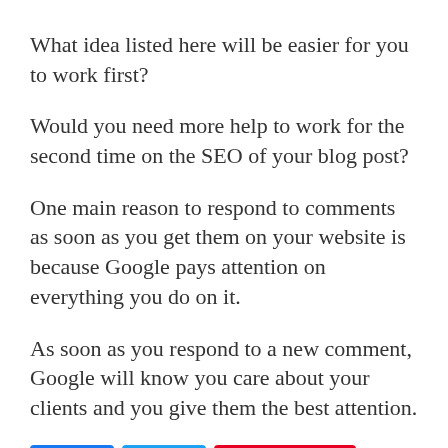What idea listed here will be easier for you to work first?
Would you need more help to work for the second time on the SEO of your blog post?
One main reason to respond to comments as soon as you get them on your website is because Google pays attention on everything you do on it.
As soon as you respond to a new comment, Google will know you care about your clients and you give them the best attention.
[Figure (infographic): Social share buttons: Facebook (blue), Twitter (light blue), Pinterest (red with count 1), and a share icon showing 1 SHARES]